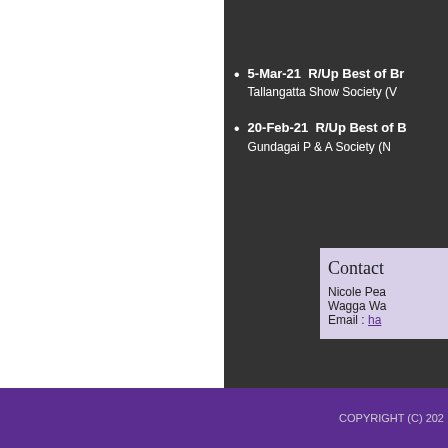5-Mar-21  R/Up Best of Breed  Tallangatta Show Society (V...)
20-Feb-21  R/Up Best of Breed  Gundagai P & A Society (N...)
Contact
Nicole Pea...
Wagga Wa...
Email : ha...
COPYRIGHT (C) 202...